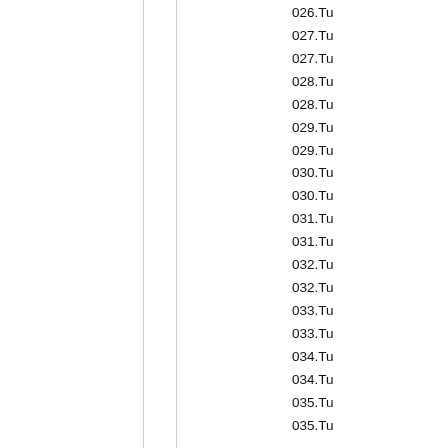026.Tu
027.Tu
027.Tu
028.Tu
028.Tu
029.Tu
029.Tu
030.Tu
030.Tu
031.Tu
031.Tu
032.Tu
032.Tu
033.Tu
033.Tu
034.Tu
034.Tu
035.Tu
035.Tu